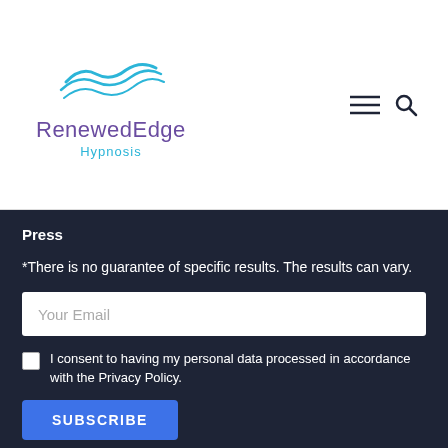[Figure (logo): RenewedEdge Hypnosis logo with wave graphic above text]
Press
*There is no guarantee of specific results. The results can vary.
Your Email (input field)
I consent to having my personal data processed in accordance with the Privacy Policy.
SUBSCRIBE